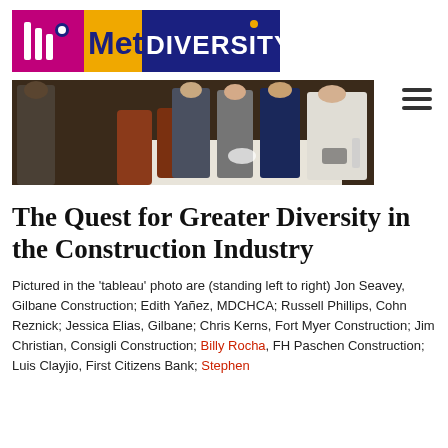[Figure (logo): Metro Diversity logo with icon and text]
[Figure (photo): Group of people seated and standing around a table at a restaurant or event, tableau photo for article]
The Quest for Greater Diversity in the Construction Industry
Pictured in the 'tableau' photo are (standing left to right) Jon Seavey, Gilbane Construction; Edith Yañez, MDCHCA; Russell Phillips, Cohn Reznick; Jessica Elias, Gilbane; Chris Kerns, Fort Myer Construction; Jim Christian, Consigli Construction; Billy Rocha, FH Paschen Construction; Luis Clayjio, First Citizens Bank; Stephen